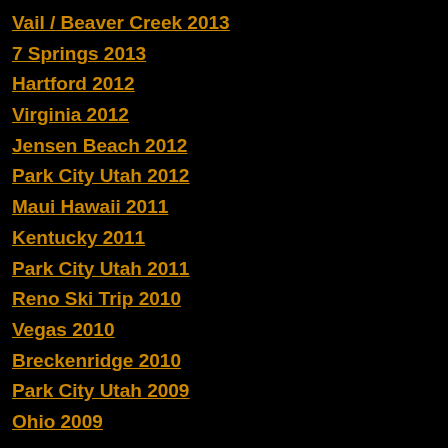Vail / Beaver Creek 2013
7 Springs 2013
Hartford 2012
Virginia 2012
Jensen Beach 2012
Park City Utah 2012
Maui Hawaii 2011
Kentucky 2011
Park City Utah 2011
Reno Ski Trip 2010
Vegas 2010
Breckenridge 2010
Park City Utah 2009
Ohio 2009